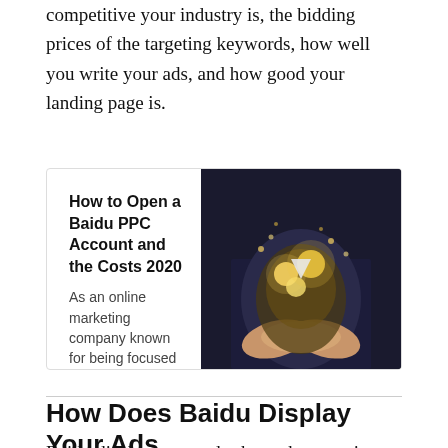competitive your industry is, the bidding prices of the targeting keywords, how well you write your ads, and how good your landing page is.
[Figure (other): Blog post card with title 'How to Open a Baidu PPC Account and the Costs 2020', excerpt text, author info 'SEO Shifu Blog • Ryan Chooai', and a photo of hands holding glowing light bulbs]
How Does Baidu Display Your Ads
Baidu displays your ads above the organic search results, as below